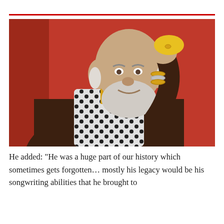[Figure (photo): Elderly man with white beard and bald head, wearing a dark brown jacket and a black-and-white patterned scarf, holding his hand to his head against a red background. Several bracelets visible on his wrist.]
He added: “He was a huge part of our history which sometimes gets forgotten… mostly his legacy would be his songwriting abilities that he brought to